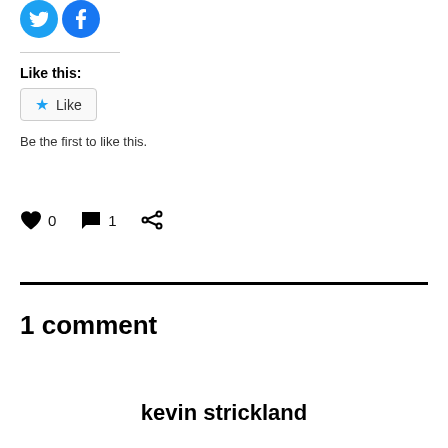[Figure (illustration): Two social media share buttons (Twitter and Facebook) shown as circular blue icons]
Like this:
[Figure (illustration): A Like button with a blue star icon and the text Like, styled with a rounded border]
Be the first to like this.
[Figure (illustration): Action row with heart icon showing 0 likes, speech bubble icon showing 1 comment, and share icon]
1 comment
kevin strickland